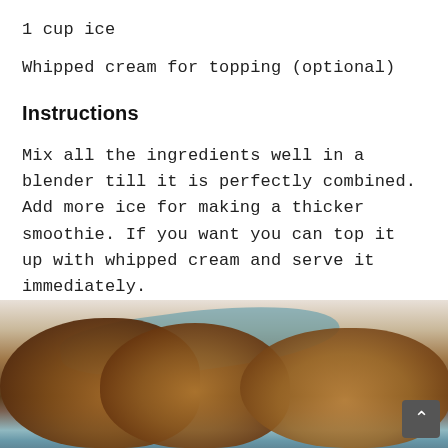1 cup ice
Whipped cream for topping (optional)
Instructions
Mix all the ingredients well in a blender till it is perfectly combined. Add more ice for making a thicker smoothie. If you want you can top it up with whipped cream and serve it immediately.
Peanut Butter Chocolate Chunk Cookies
[Figure (photo): Photo of peanut butter chocolate chunk cookies on a cloth background]